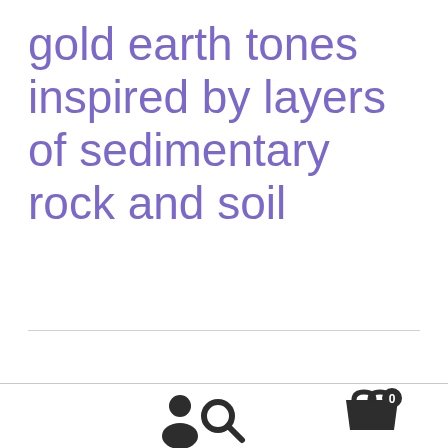gold earth tones inspired by layers of sedimentary rock and soil
[Figure (other): Navigation footer bar with three icons: user/person icon on left, search magnifying glass icon in center, shopping cart icon with badge showing '0' on right]